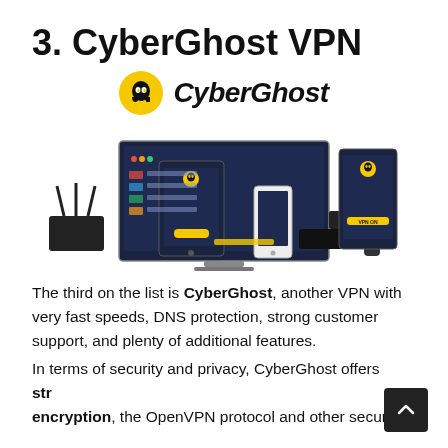3. CyberGhost VPN
[Figure (logo): CyberGhost VPN logo: yellow circle with ghost icon and italic bold text 'CyberGhost']
[Figure (screenshot): CyberGhost VPN app shown running on multiple devices: desktop monitor, tablet, smartphone, Apple TV, and router]
The third on the list is CyberGhost, another VPN with very fast speeds, DNS protection, strong customer support, and plenty of additional features.
In terms of security and privacy, CyberGhost offers strong encryption, the OpenVPN protocol and other security